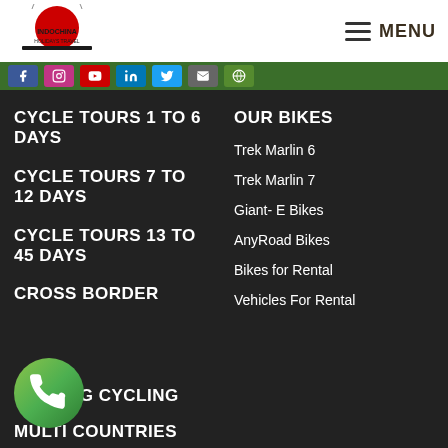Indochina Holidays Travel — MENU
CYCLE TOURS 1 TO 6 DAYS
CYCLE TOURS 7 TO 12 DAYS
CYCLE TOURS 13 TO 45 DAYS
CROSS BORDER
OUR BIKES
Trek Marlin 6
Trek Marlin 7
Giant- E Bikes
AnyRoad Bikes
Bikes for Rental
Vehicles For Rental
MEKONG CYCLING
MULTI COUNTRIES